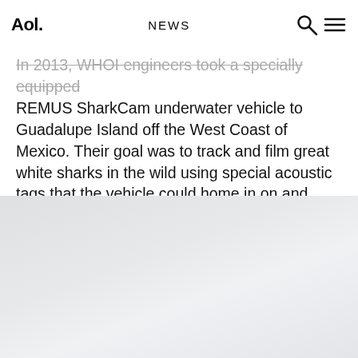Aol. NEWS
In 2013, WHOI engineers took a specially equipped REMUS SharkCam underwater vehicle to Guadalupe Island off the West Coast of Mexico. Their goal was to track and film great white sharks in the wild using special acoustic tags that the vehicle could home in on and follow.
[Figure (photo): Grey/light area, appears to be a placeholder or partially loaded image area]